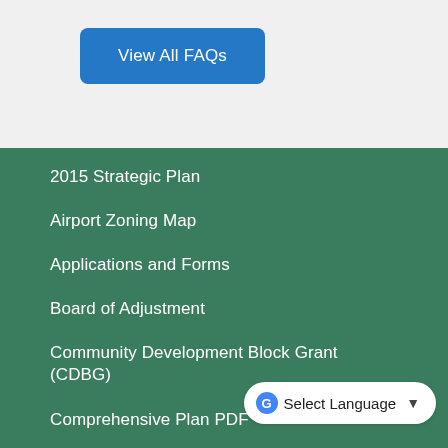[Figure (screenshot): Blue rounded button labeled 'View All FAQs']
2015 Strategic Plan
Airport Zoning Map
Applications and Forms
Board of Adjustment
Community Development Block Grant (CDBG)
Comprehensive Plan PDF